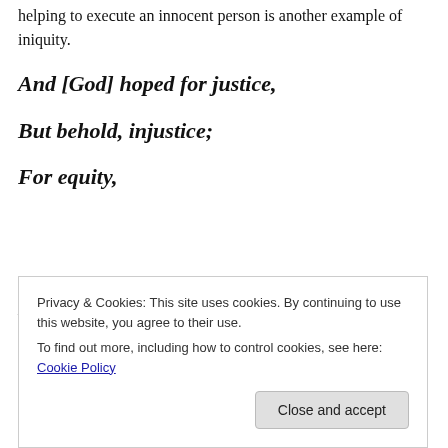helping to execute an innocent person is another example of iniquity.
And [God] hoped for justice,
But behold, injustice;
For equity,
But behold, iniquity!
Privacy & Cookies: This site uses cookies. By continuing to use this website, you agree to their use.
To find out more, including how to control cookies, see here: Cookie Policy